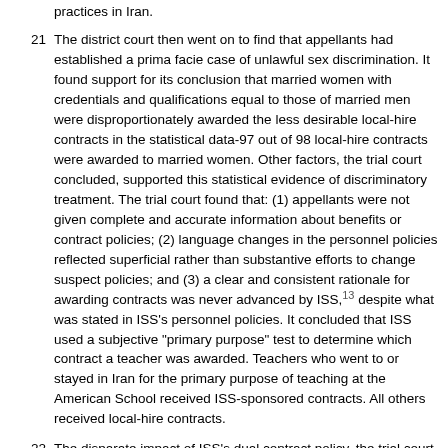practices in Iran.
21  The district court then went on to find that appellants had established a prima facie case of unlawful sex discrimination. It found support for its conclusion that married women with credentials and qualifications equal to those of married men were disproportionately awarded the less desirable local-hire contracts in the statistical data-97 out of 98 local-hire contracts were awarded to married women. Other factors, the trial court concluded, supported this statistical evidence of discriminatory treatment. The trial court found that: (1) appellants were not given complete and accurate information about benefits or contract policies; (2) language changes in the personnel policies reflected superficial rather than substantive efforts to change suspect policies; and (3) a clear and consistent rationale for awarding contracts was never advanced by ISS,13 despite what was stated in ISS's personnel policies. It concluded that ISS used a subjective "primary purpose" test to determine which contract a teacher was awarded. Teachers who went to or stayed in Iran for the primary purpose of teaching at the American School received ISS-sponsored contracts. All others received local-hire contracts.
22  The disparate impact of ISS's dual contract policy, the trial court held, was demonstrated by the same factors and statistical data